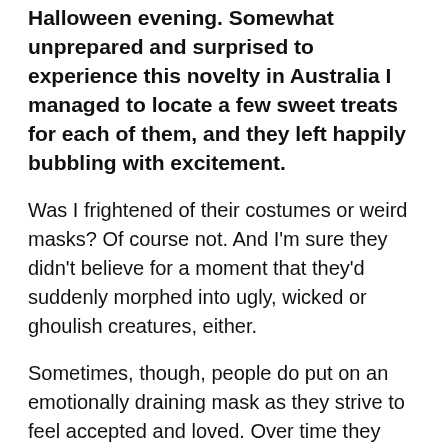Halloween evening. Somewhat unprepared and surprised to experience this novelty in Australia I managed to locate a few sweet treats for each of them, and they left happily bubbling with excitement.
Was I frightened of their costumes or weird masks? Of course not. And I'm sure they didn't believe for a moment that they'd suddenly morphed into ugly, wicked or ghoulish creatures, either.
Sometimes, though, people do put on an emotionally draining mask as they strive to feel accepted and loved. Over time they may come to accept the charade as part of themselves.
For instance, they may act out the role where they have to be the best … at everything. They can't abide mistakes and feel it's a badge of honour to say they're a